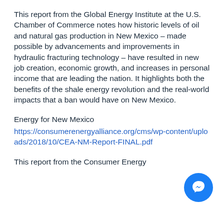This report from the Global Energy Institute at the U.S. Chamber of Commerce notes how historic levels of oil and natural gas production in New Mexico – made possible by advancements and improvements in hydraulic fracturing technology – have resulted in new job creation, economic growth, and increases in personal income that are leading the nation. It highlights both the benefits of the shale energy revolution and the real-world impacts that a ban would have on New Mexico.
Energy for New Mexico
https://consumerenergyalliance.org/cms/wp-content/uploads/2018/10/CEA-NM-Report-FINAL.pdf
This report from the Consumer Energy